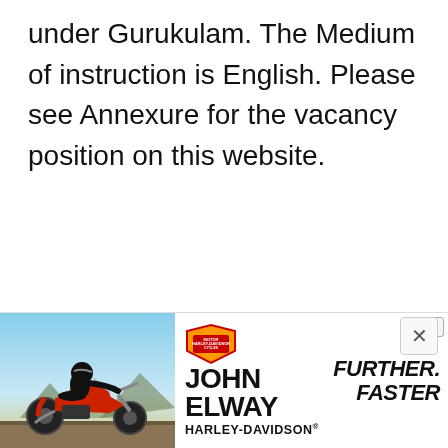under Gurukulam. The Medium of instruction is English. Please see Annexure for the vacancy position on this website.
[Figure (illustration): Advertisement banner for John Elway Harley-Davidson featuring a motorcycle rider on a road with desert background, Harley-Davidson Motor Cycles shield logo, text 'JOHN ELWAY HARLEY-DAVIDSON' and 'FURTHER. FASTER']